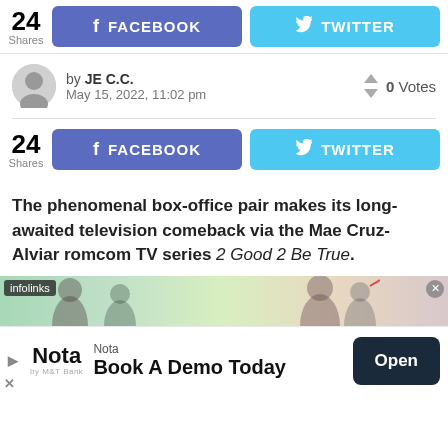24 Shares  FACEBOOK  TWITTER
by JE C.C.  May 15, 2022, 11:02 pm  0 Votes
24 Shares  FACEBOOK  TWITTER
The phenomenal box-office pair makes its long-awaited television comeback via the Mae Cruz-Alviar romcom TV series 2 Good 2 Be True.
[Figure (screenshot): infolinks banner ad with figures in background]
[Figure (screenshot): Nota by M&T Bank ad - Book A Demo Today with Open button]